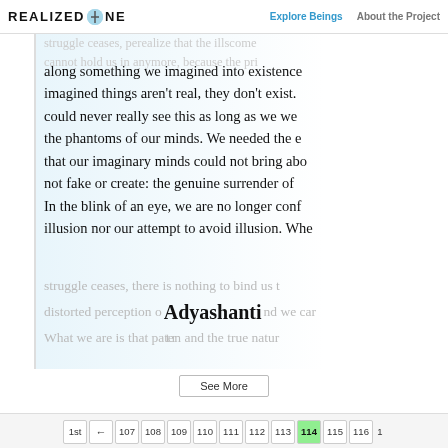REALIZED ONE | Explore Beings | About the Project
along something we imagined into existence... imagined things aren't real, they don't exist. could never really see this as long as we we... the phantoms of our minds. We needed the ... that our imaginary minds could not bring abo... not fake or create: the genuine surrender of ... In the blink of an eye, we are no longer conf... illusion nor our attempt to avoid illusion. Whe...
struggle ceases, there is nothing to bind us t... distorted perception of... nd we ca... What we are is that pa...
Adyashanti
See More
1st ← 107 108 109 110 111 112 113 114 115 116 1...